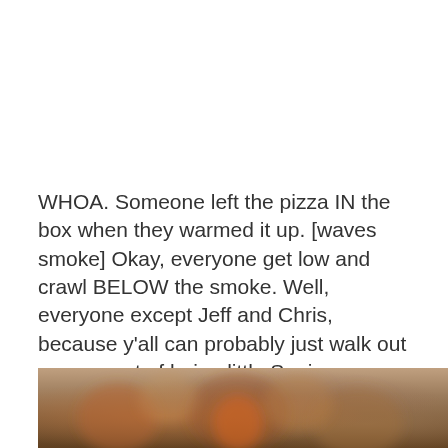WHOA. Someone left the pizza IN the box when they warmed it up. [waves smoke] Okay, everyone get low and crawl BELOW the smoke. Well, everyone except Jeff and Chris, because y'all can probably just walk out on account of being little Sonic-cheesecake-bite-sized people. Hey, where's John--

Oh god.
[Figure (photo): Blurry photograph of people, appears to be a sports or crowd scene, partially cropped at the bottom of the page]